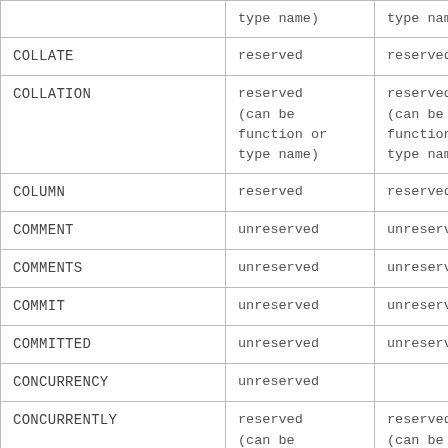|  | type name) | type name) |
| --- | --- | --- |
| COLLATE | reserved | reserved |
| COLLATION | reserved
(can be
function or
type name) | reserved
(can be
function or
type name) |
| COLUMN | reserved | reserved |
| COMMENT | unreserved | unreserved |
| COMMENTS | unreserved | unreserved |
| COMMIT | unreserved | unreserved |
| COMMITTED | unreserved | unreserved |
| CONCURRENCY | unreserved |  |
| CONCURRENTLY | reserved
(can be
function or
type name) | reserved
(can be
function or
type name) |